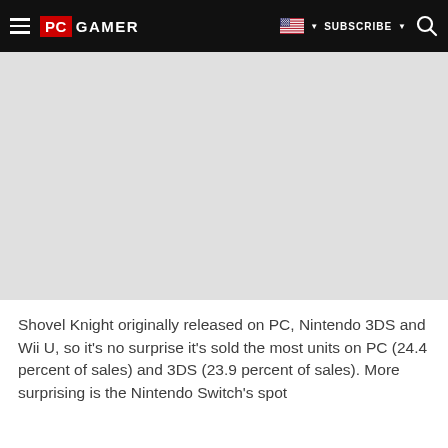PC GAMER | SUBSCRIBE
[Figure (photo): Gray placeholder image area below navigation bar]
Shovel Knight originally released on PC, Nintendo 3DS and Wii U, so it's no surprise it's sold the most units on PC (24.4 percent of sales) and 3DS (23.9 percent of sales). More surprising is the Nintendo Switch's spot